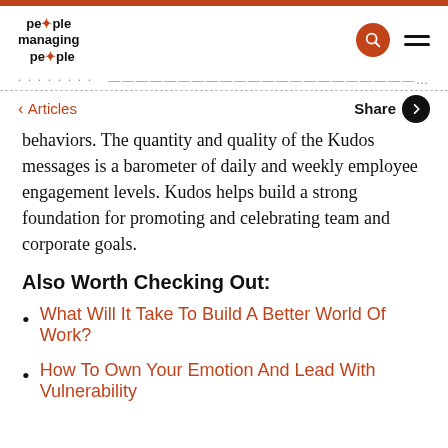people managing people
behaviors. The quantity and quality of the Kudos messages is a barometer of daily and weekly employee engagement levels. Kudos helps build a strong foundation for promoting and celebrating team and corporate goals.
Also Worth Checking Out:
What Will It Take To Build A Better World Of Work?
How To Own Your Emotion And Lead With Vulnerability